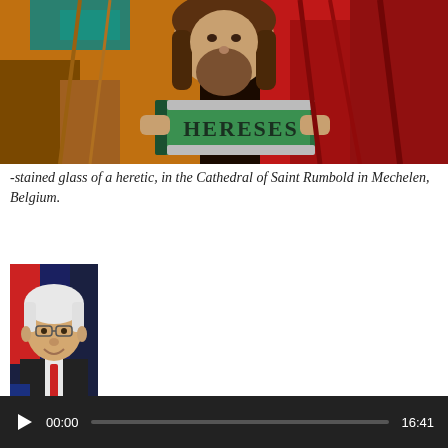[Figure (photo): Stained glass image of a heretic holding a book labeled HERESES, in vivid orange, red, and teal colors]
-stained glass of a heretic, in the Cathedral of Saint Rumbold in Mechelen, Belgium.
[Figure (photo): Portrait photo of Kenneth D. Whitehead, an older white-haired man in a suit with red tie, smiling]
-by Kenneth D. Whitehead
[Figure (other): Audio player bar showing 00:00 current time and 16:41 total duration with a play button and progress bar]